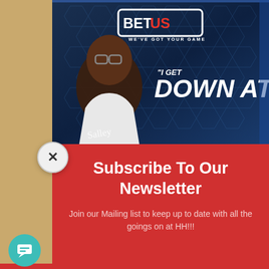[Figure (screenshot): BetUS advertisement banner with a man wearing glasses and white shirt against a dark blue hexagonal background. BetUS logo at top, text reads 'I GET DOWN AT']
Subscribe To Our Newsletter
Join our Mailing list to keep up to date with all the goings on at HH!!!